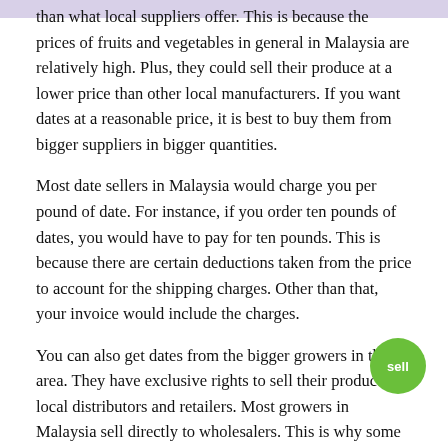than what local suppliers offer. This is because the prices of fruits and vegetables in general in Malaysia are relatively high. Plus, they could sell their produce at a lower price than other local manufacturers. If you want dates at a reasonable price, it is best to buy them from bigger suppliers in bigger quantities.
Most date sellers in Malaysia would charge you per pound of date. For instance, if you order ten pounds of dates, you would have to pay for ten pounds. This is because there are certain deductions taken from the price to account for the shipping charges. Other than that, your invoice would include the charges.
You can also get dates from the bigger growers in the area. They have exclusive rights to sell their produce to local distributors and retailers. Most growers in Malaysia sell directly to wholesalers. This is why some people call the dates that come from these big suppliers “billion dollar dates.” The growers are able to charge a higher price for these fruits